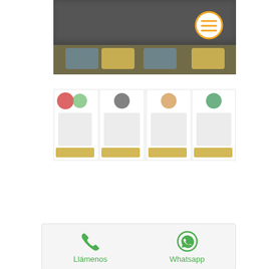[Figure (screenshot): Blurred dark/monochrome photo with colorful elements at bottom, with orange circular hamburger menu button in top-right area]
[Figure (screenshot): Blurred grid of product/team cards with colored icons at top and yellow buttons at bottom, on light background]
[Figure (screenshot): Footer bar with phone icon and WhatsApp icon, showing 'Llámenos' and 'Whatsapp' labels in green]